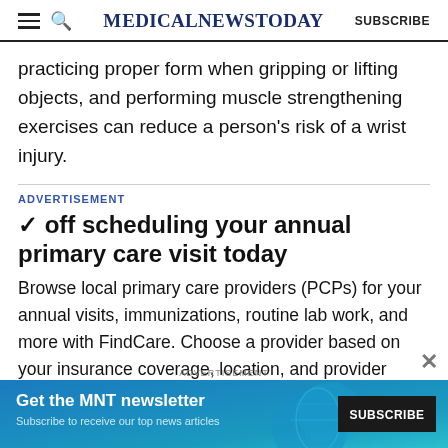MedicalNewsToday | SUBSCRIBE
practicing proper form when gripping or lifting objects, and performing muscle strengthening exercises can reduce a person’s risk of a wrist injury.
ADVERTISEMENT
✓ off scheduling your annual primary care visit today
Browse local primary care providers (PCPs) for your annual visits, immunizations, routine lab work, and more with FindCare. Choose a provider based on your insurance coverage, location, and provider credentials.
[Figure (infographic): MNT newsletter banner ad: Get the MNT newsletter - Subscribe to receive our top news articles. SUBSCRIBE button.]